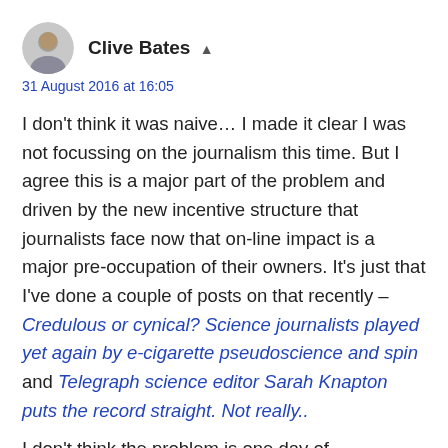Clive Bates
31 August 2016 at 16:05
I don't think it was naive… I made it clear I was not focussing on the journalism this time. But I agree this is a major part of the problem and driven by the new incentive structure that journalists face now that on-line impact is a major pre-occupation of their owners. It's just that I've done a couple of posts on that recently – Credulous or cynical? Science journalists played yet again by e-cigarette pseudoscience and spin and Telegraph science editor Sarah Knapton puts the record straight. Not really..
I don't think the problem is one day of